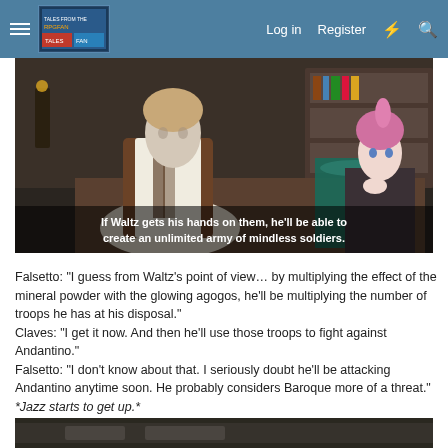Log in  Register
[Figure (screenshot): Video game screenshot showing two anime-style characters. Subtitle text reads: 'If Waltz gets his hands on them, he'll be able to create an unlimited army of mindless soldiers.']
Falsetto: “I guess from Waltz’s point of view… by multiplying the effect of the mineral powder with the glowing agogos, he’ll be multiplying the number of troops he has at his disposal.”
Claves: “I get it now. And then he’ll use those troops to fight against Andantino.”
Falsetto: “I don’t know about that. I seriously doubt he’ll be attacking Andantino anytime soon. He probably considers Baroque more of a threat.”
*Jazz starts to get up.*
[Figure (screenshot): Bottom portion of another video game screenshot, darker scene visible at bottom of page.]